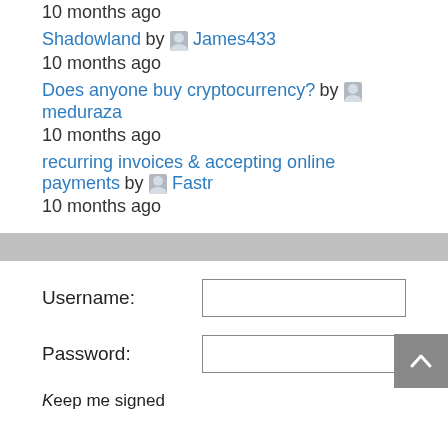10 months ago
Shadowland by James433
10 months ago
Does anyone buy cryptocurrency? by meduraza
10 months ago
recurring invoices & accepting online payments by Fastr
10 months ago
Username:
Password:
Keep me signed